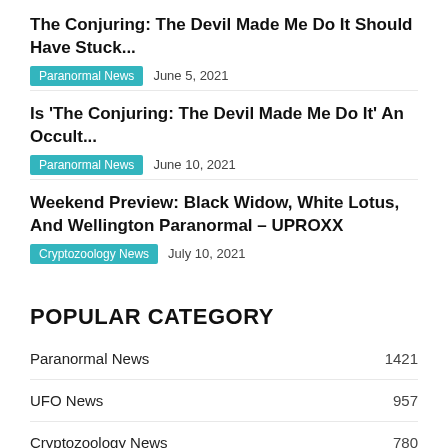The Conjuring: The Devil Made Me Do It Should Have Stuck...
Paranormal News   June 5, 2021
Is ‘The Conjuring: The Devil Made Me Do It’ An Occult...
Paranormal News   June 10, 2021
Weekend Preview: Black Widow, White Lotus, And Wellington Paranormal – UPROXX
Cryptozoology News   July 10, 2021
POPULAR CATEGORY
Paranormal News   1421
UFO News   957
Cryptozoology News   780
Articles on the Paranormal   6